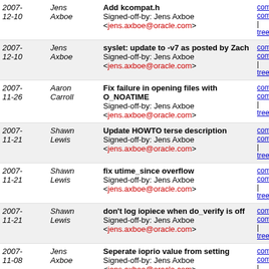| Date | Author | Message | Links |
| --- | --- | --- | --- |
| 2007-12-10 | Jens Axboe | Add kcompat.h
Signed-off-by: Jens Axboe <jens.axboe@oracle.com> | commit | commitdiff | tree |
| 2007-12-10 | Jens Axboe | syslet: update to -v7 as posted by Zach
Signed-off-by: Jens Axboe <jens.axboe@oracle.com> | commit | commitdiff | tree |
| 2007-11-26 | Aaron Carroll | Fix failure in opening files with O_NOATIME
Signed-off-by: Jens Axboe <jens.axboe@oracle.com> | commit | commitdiff | tree |
| 2007-11-21 | Shawn Lewis | Update HOWTO terse description
Signed-off-by: Jens Axboe <jens.axboe@oracle.com> | commit | commitdiff | tree |
| 2007-11-21 | Shawn Lewis | fix utime_since overflow
Signed-off-by: Jens Axboe <jens.axboe@oracle.com> | commit | commitdiff | tree |
| 2007-11-21 | Shawn Lewis | don't log iopiece when do_verify is off
Signed-off-by: Jens Axboe <jens.axboe@oracle.com> | commit | commitdiff | tree |
| 2007-11-08 | Jens Axboe | Seperate ioprio value from setting
Signed-off-by: Jens Axboe <jens.axboe@oracle.com> | commit | commitdiff | tree |
| 2007-10-30 | Jens Axboe | Fio 1.17.2
Signed-off-by: Jens Axboe <jens.axboe@oracle.com> | commit | commitdiff | tree |